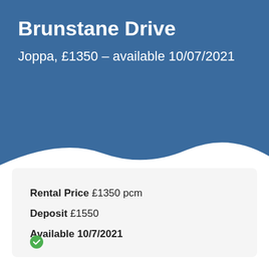Brunstane Drive
Joppa, £1350 – available 10/07/2021
Rental Price £1350 pcm
Deposit £1550
Available 10/7/2021